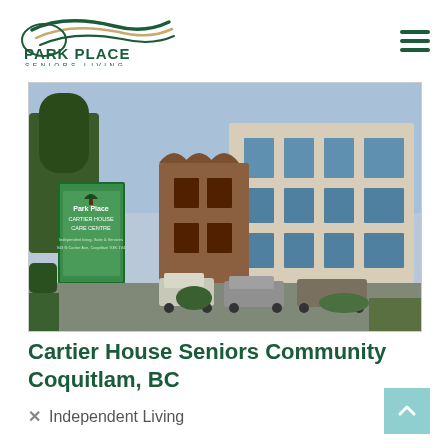[Figure (logo): Park Place Seniors Living logo with green wave/swoosh graphic above the text]
[Figure (photo): Exterior photo of Cartier House Seniors Community building in Coquitlam, BC. Shows a multi-storey building with large windows, a Park Place Cartier House Care Centre sign in foreground, parked cars, and landscaping.]
Cartier House Seniors Community Coquitlam, BC
Independent Living